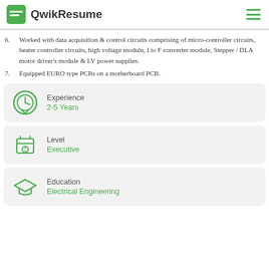QwikResume
6. Worked with data acquisition & control circuits comprising of micro-controller circuits, heater controller circuits, high voltage module, I to F converter module, Stepper / DLA motor driver's module & LV power supplies.
7. Equipped EURO type PCBs on a motherboard PCB.
Experience
2-5 Years
Level
Executive
Education
Electrical Engineering